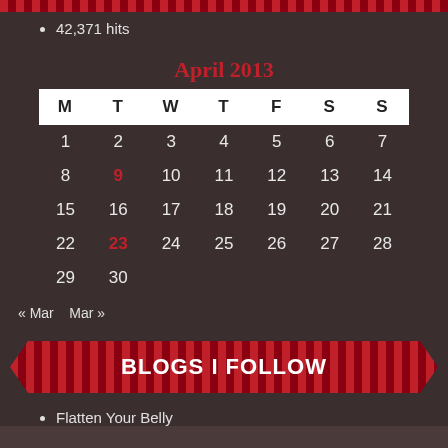42,371 hits
| M | T | W | T | F | S | S |
| --- | --- | --- | --- | --- | --- | --- |
| 1 | 2 | 3 | 4 | 5 | 6 | 7 |
| 8 | 9 | 10 | 11 | 12 | 13 | 14 |
| 15 | 16 | 17 | 18 | 19 | 20 | 21 |
| 22 | 23 | 24 | 25 | 26 | 27 | 28 |
| 29 | 30 |  |  |  |  |  |
« Mar    Mar »
BLOGS I FOLLOW
Flatten Your Belly